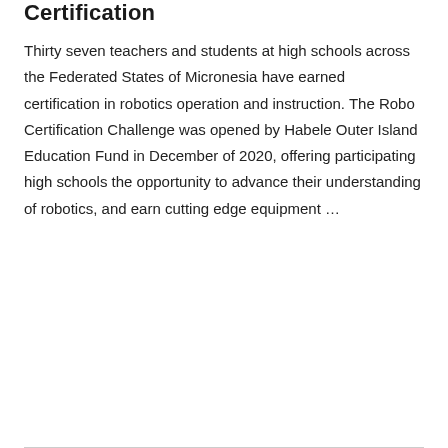Certification
Thirty seven teachers and students at high schools across the Federated States of Micronesia have earned certification in robotics operation and instruction. The Robo Certification Challenge was opened by Habele Outer Island Education Fund in December of 2020, offering participating high schools the opportunity to advance their understanding of robotics, and earn cutting edge equipment …
CONTINUE READING